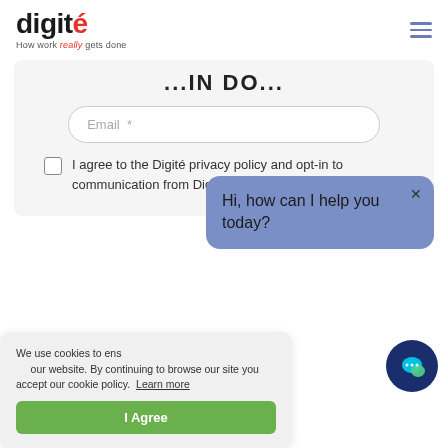digité – How work really gets done
...IN DO...
Email *
I agree to the Digité privacy policy and opt-in to communication from Digité.
[Figure (screenshot): Chat widget bubble saying 'Hi, how can I help you today?' with a close button, and a chat launcher icon (dark blue circle with speech bubble)]
We use cookies to ensure you get the best experience on our website. By continuing to browse our site you accept our cookie policy. Learn more
I Agree